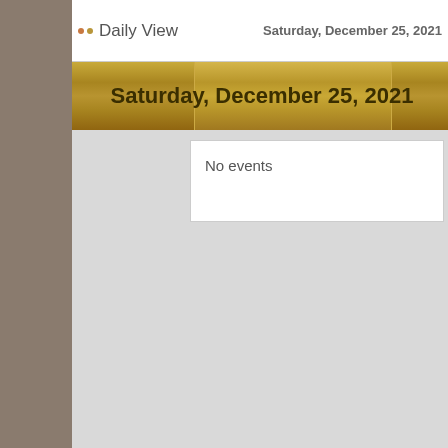Daily View   Saturday, December 25, 2021
Saturday, December 25, 2021
No events